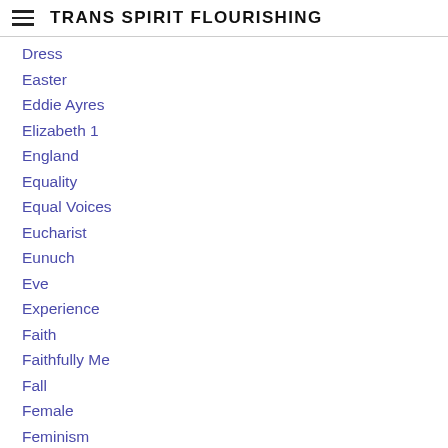TRANS SPIRIT FLOURISHING
Dress
Easter
Eddie Ayres
Elizabeth 1
England
Equality
Equal Voices
Eucharist
Eunuch
Eve
Experience
Faith
Faithfully Me
Fall
Female
Feminism
Flourishing
Forgiveness